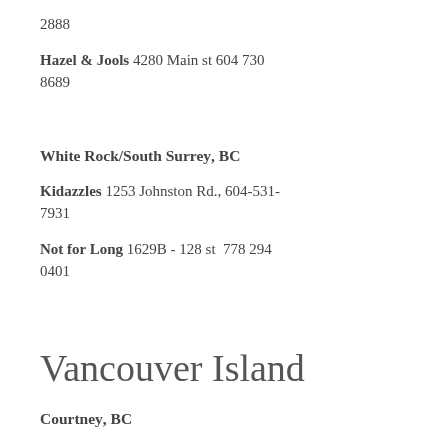2888
Hazel & Jools 4280 Main st 604 730 8689
White Rock/South Surrey, BC
Kidazzles 1253 Johnston Rd., 604-531-7931
Not for Long 1629B - 128 st  778 294 0401
Vancouver Island
Courtney, BC
Kradles Baby Boutique 226 - 5th St, 250-703-9516